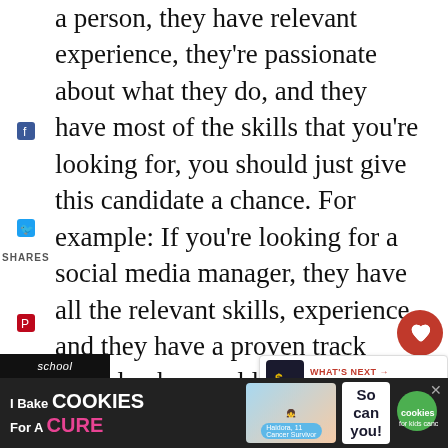a person, they have relevant experience, they're passionate about what they do, and they have most of the skills that you're looking for, you should just give this candidate a chance. For example: If you're looking for a social media manager, they have all the relevant skills, experience, and they have a proven track record, why would you dismiss them because they don't have a 4-year degree? You can be good at social media management and not have a degree. Some job positions have little to no relevance for what is offered and taught in school
[Figure (screenshot): Social media share icons on left side and heart/share buttons on right side, plus a 'What's Next - Expanding Your Home...' widget]
[Figure (infographic): Advertisement banner: 'I Bake COOKIES For A CURE' with Haidora cancer survivor badge, 'So can you!' text and cookies for kids cancer logo]